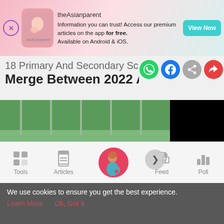[Figure (screenshot): theAsianparent app advertisement banner with pink/teal gradient background, app logo, text about premium articles, and View Now button]
18 Primary And Secondary Schools To Merge Between 2022 And 2024: MOE
[Figure (photo): Student wearing mask in classroom on left side, black video player on right side, with navigation arrow]
[Figure (screenshot): Bottom navigation bar with Tools, Articles, center pregnant woman icon, Feed, and Poll icons]
We use cookies to ensure you get the best experience.
Learn More    Ok, Got it